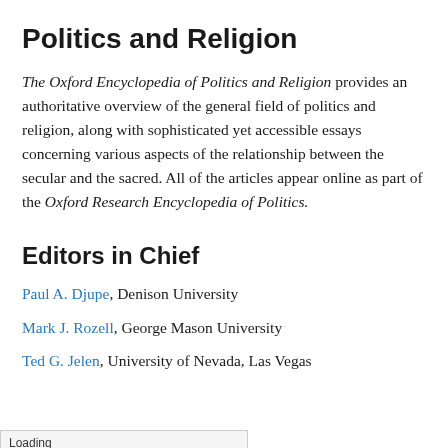Politics and Religion
The Oxford Encyclopedia of Politics and Religion provides an authoritative overview of the general field of politics and religion, along with sophisticated yet accessible essays concerning various aspects of the relationship between the secular and the sacred. All of the articles appear online as part of the Oxford Research Encyclopedia of Politics.
Editors in Chief
Paul A. Djupe, Denison University
Mark J. Rozell, George Mason University
Ted G. Jelen, University of Nevada, Las Vegas
Loading [MathJax]/extensions/MathZoom.js